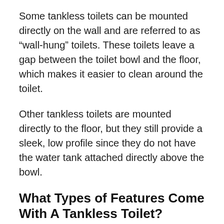Some tankless toilets can be mounted directly on the wall and are referred to as “wall-hung” toilets. These toilets leave a gap between the toilet bowl and the floor, which makes it easier to clean around the toilet.
Other tankless toilets are mounted directly to the floor, but they still provide a sleek, low profile since they do not have the water tank attached directly above the bowl.
What Types of Features Come With A Tankless Toilet?
Many tankless toilets offer state-of-the-art